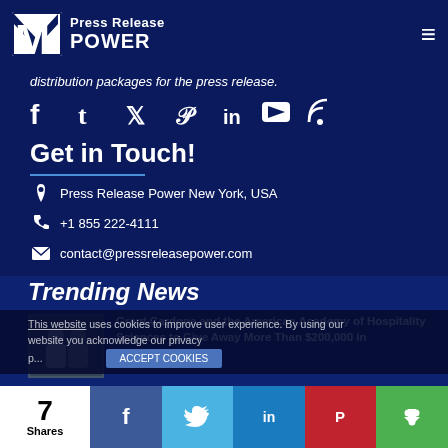Press Release Power
distribution packages for the press release.
[Figure (other): Social media icons row: facebook, tumblr, twitter, pinterest, linkedin, youtube, rss]
Get in Touch!
Press Release Power New York, USA
+1 855 222-4111
contact@pressreleasepower.com
Trending News
This website uses cookies to improve user experience. By using our website you acknowledge our privacy p...
Grant Cardone and the American Academy of Hospitality Sciences to Give Away More Than $200,000 in
Alluring Faces Cosmetics A New Fun and Colorful Vegan Makeup Line Created by Celebrity Makeup Artist Mo...
7 Shares — Share buttons: Facebook, Twitter, LinkedIn, Pinterest, Other